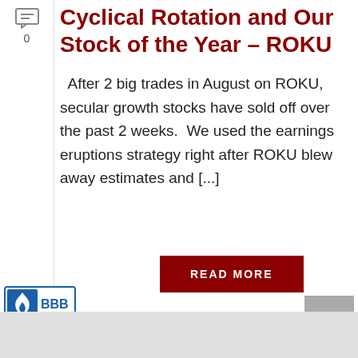Cyclical Rotation and Our Stock of the Year – ROKU
After 2 big trades in August on ROKU, secular growth stocks have sold off over the past 2 weeks.  We used the earnings eruptions strategy right after ROKU blew away estimates and [...]
[Figure (logo): BBB Accredited Business logo with Rating: A+]
[Figure (other): READ MORE button in dark red]
[Figure (other): Back to top button with upward arrow, gray background]